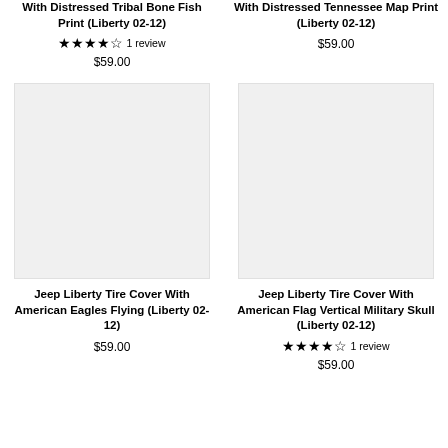Jeep Liberty Tire Cover With Distressed Tribal Bone Fish Print (Liberty 02-12)
★★★★☆ 1 review
$59.00
Jeep Liberty Tire Cover With Distressed Tennessee Map Print (Liberty 02-12)
$59.00
[Figure (photo): Product image placeholder – light gray rectangle]
Jeep Liberty Tire Cover With American Eagles Flying (Liberty 02-12)
$59.00
[Figure (photo): Product image placeholder – light gray rectangle]
Jeep Liberty Tire Cover With American Flag Vertical Military Skull (Liberty 02-12)
★★★★☆ 1 review
$59.00